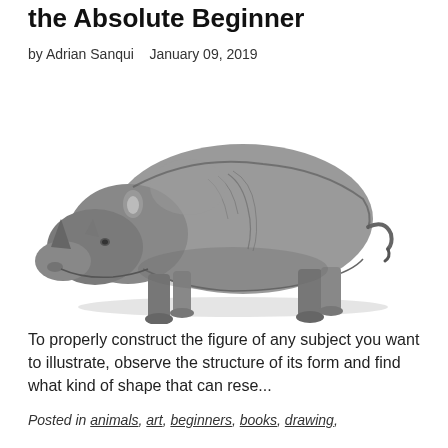the Absolute Beginner
by Adrian Sanqui   January 09, 2019
[Figure (illustration): Black and white pencil drawing of a rhinoceros viewed from the side, showing detailed texture of skin and musculature, with a slight shadow beneath.]
To properly construct the figure of any subject you want to illustrate, observe the structure of its form and find what kind of shape that can rese...
Posted in animals, art, beginners, books, drawing,